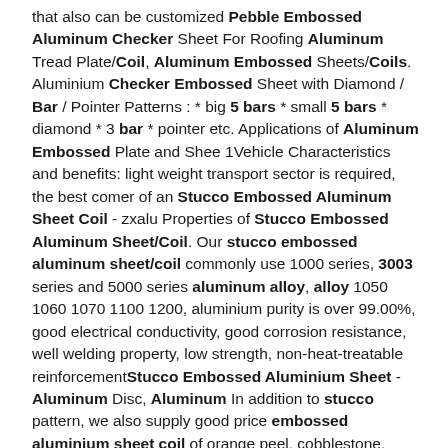that also can be customized Pebble Embossed Aluminum Checker Sheet For Roofing Aluminum Tread Plate/Coil, Aluminum Embossed Sheets/Coils. Aluminium Checker Embossed Sheet with Diamond / Bar / Pointer Patterns : * big 5 bars * small 5 bars * diamond * 3 bar * pointer etc. Applications of Aluminum Embossed Plate and Shee 1Vehicle Characteristics and benefits: light weight transport sector is required, the best comer of an Stucco Embossed Aluminum Sheet Coil - zxalu Properties of Stucco Embossed Aluminum Sheet/Coil. Our stucco embossed aluminum sheet/coil commonly use 1000 series, 3003 series and 5000 series aluminum alloy, alloy 1050 1060 1070 1100 1200, aluminium purity is over 99.00%, good electrical conductivity, good corrosion resistance, well welding property, low strength, non-heat-treatable reinforcementStucco Embossed Aluminium Sheet - Aluminum Disc, Aluminum In addition to stucco pattern, we also supply good price embossed aluminium sheet coil of orange peel, cobblestone, hammer, pebble, 5-bar, 3-bar, 2-bar, 1-bar, diamond, etc. The sheets or rolls are of excellent anti-slip performance, strong resistance against corrosion, high stability and long service life. aluminum embossed sheet 1060 h14 - grandlaurelhotel Embossed Aluminum Sheet Embossed 1100 1050 1060 H14 H24 5 Bar Embossed Aluminum Sheet 3003 Alloy For Ship